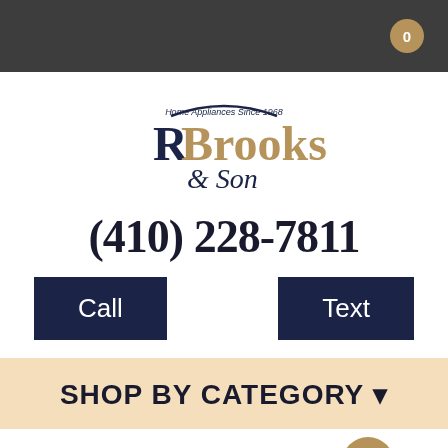Navigation bar with cart badge showing 0
[Figure (logo): R Brooks & Son Home Appliances Since 1968 logo]
(410) 228-7811
Call
Text
SHOP BY CATEGORY
REBATE